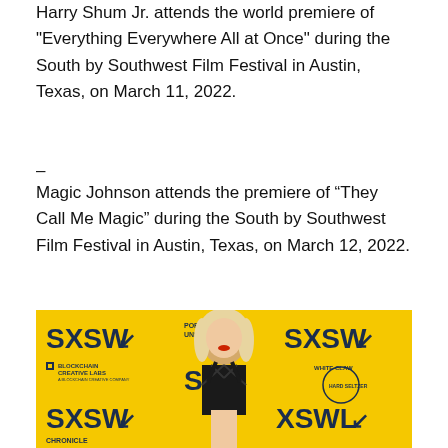Harry Shum Jr. attends the world premiere of "Everything Everywhere All at Once" during the South by Southwest Film Festival in Austin, Texas, on March 11, 2022.
–
Magic Johnson attends the premiere of “They Call Me Magic” during the South by Southwest Film Festival in Austin, Texas, on March 12, 2022.
[Figure (photo): A woman with blonde hair wearing a black outfit poses in front of a yellow SXSW (South by Southwest) step-and-repeat backdrop featuring logos including SXSW, Porsche Unseen, Blockchain Creative Labs, White Claw Hard Seltzer, and Chronicle.]